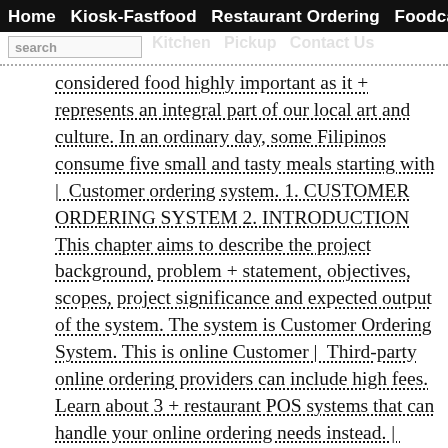Home  Kiosk-Fastfood  Restaurant Ordering  Foodcart
[navigation secondary row with search]
considered food highly important as it + represents an integral part of our local art and culture. In an ordinary day, some Filipinos consume five small and tasty meals starting with | Customer ordering system. 1. CUSTOMER ORDERING SYSTEM 2. INTRODUCTION This chapter aims to describe the project background, problem + statement, objectives, scopes, project significance and expected output of the system. The system is Customer Ordering System. This is online Customer | Third-party online ordering providers can include high fees. Learn about 3 + restaurant POS systems that can handle your online ordering needs instead. | Toast's online ordering system for restaurants simplifies the + customer ordering experience and eliminates vendor fees on the restaurant's end | Your Menu, Our Features A Recipe for Success. Our advanced features won't just make your online ordering system come to life. It will elevate your